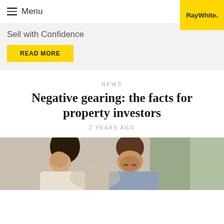Menu
Sell with Confidence
READ MORE
NEWS
Negative gearing: the facts for property investors
2 YEARS AGO
[Figure (photo): A man and woman looking down together, appearing to review documents, outdoors with greenery in background]